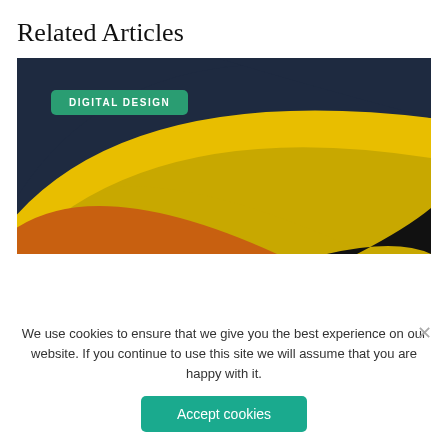Related Articles
[Figure (illustration): Abstract colorful illustration with curved shapes in dark navy blue, golden yellow, and burnt orange on a dark background, with a green 'DIGITAL DESIGN' badge overlay in upper left]
We use cookies to ensure that we give you the best experience on our website. If you continue to use this site we will assume that you are happy with it.
Accept cookies